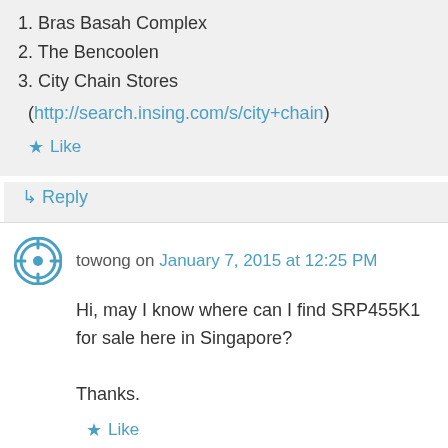1. Bras Basah Complex
2. The Bencoolen
3. City Chain Stores
(http://search.insing.com/s/city+chain)
Like
Reply
towong on January 7, 2015 at 12:25 PM
Hi, may I know where can I find SRP455K1 for sale here in Singapore?

Thanks.
Like
Reply